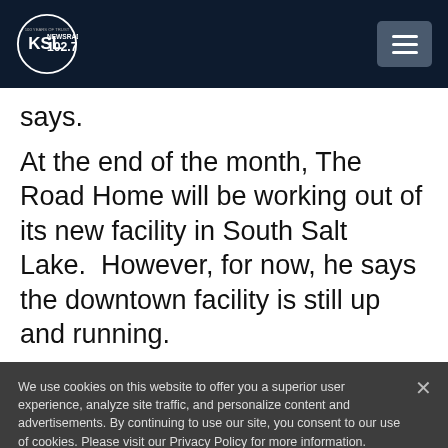KSL NewsRadio 102.7FM
says.
At the end of the month, The Road Home will be working out of its new facility in South Salt Lake.  However, for now, he says the downtown facility is still up and running.
We use cookies on this website to offer you a superior user experience, analyze site traffic, and personalize content and advertisements. By continuing to use our site, you consent to our use of cookies. Please visit our Privacy Policy for more information.